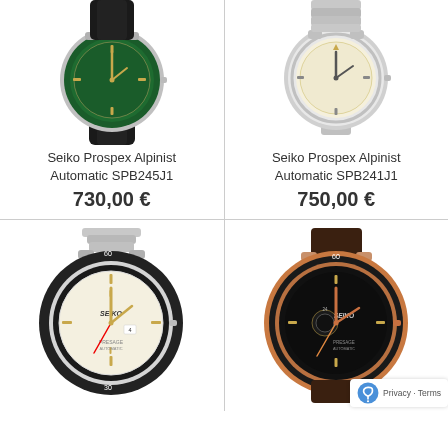[Figure (photo): Seiko Prospex Alpinist watch with green dial and black leather strap, partially cropped at top]
Seiko Prospex Alpinist Automatic SPB245J1
730,00 €
[Figure (photo): Seiko Prospex Alpinist watch with cream/gold dial and silver metal bracelet, partially cropped at top]
Seiko Prospex Alpinist Automatic SPB241J1
750,00 €
[Figure (photo): Seiko Presage Automatic watch with white dial, gold indices, black bezel and silver metal bracelet]
[Figure (photo): Seiko Presage Automatic watch with black dial, open heart, rose gold case and dark brown NATO strap]